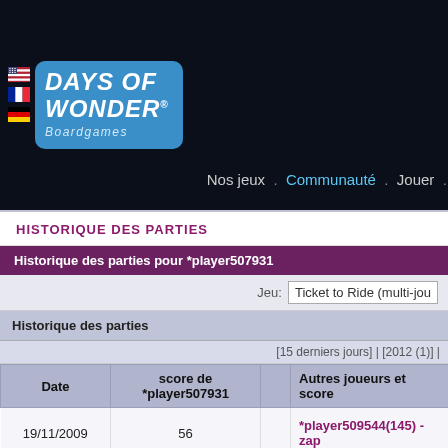Days of Wonder Boardgames — Nos jeux . Communauté . Jouer . À prop
HISTORIQUE DES PARTIES
| Date | score de *player507931 |  | Autres joueurs et score |
| --- | --- | --- | --- |
| 19/11/2009 | 56 |  | *player509544(145) - zap |
| 31/10/2009 | 87 |  | sngbdgl(151) - hexahed |
| 24/10/2009 | 199 | 🙂 | *player179357(152) - so |
| 24/10/2009 | 111 | 🙂 | DirectBot(41) - Nebulou |